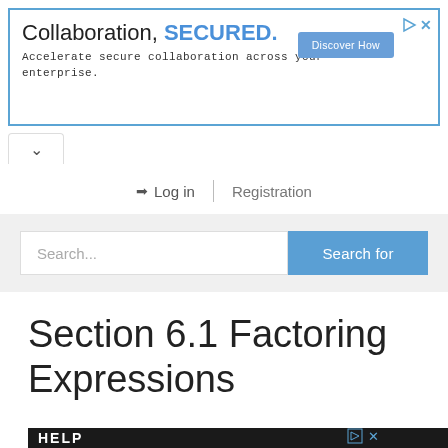[Figure (screenshot): Advertisement banner: 'Collaboration, SECURED. Accelerate secure collaboration across your enterprise.' with a 'Discover How' button, blue border, play and close icons.]
Log in  |  Registration
[Figure (screenshot): Search bar with placeholder text 'Search...' and a 'Search for' blue button on a light grey background.]
Section 6.1 Factoring Expressions
[Figure (photo): Bottom advertisement image showing a person and network cables with 'HELP' text overlay.]